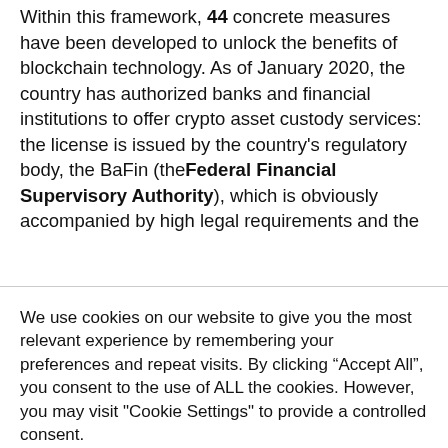Within this framework, 44 concrete measures have been developed to unlock the benefits of blockchain technology. As of January 2020, the country has authorized banks and financial institutions to offer crypto asset custody services: the license is issued by the country's regulatory body, the BaFin (the Federal Financial Supervisory Authority), which is obviously accompanied by high legal requirements and the
We use cookies on our website to give you the most relevant experience by remembering your preferences and repeat visits. By clicking “Accept All”, you consent to the use of ALL the cookies. However, you may visit "Cookie Settings" to provide a controlled consent.